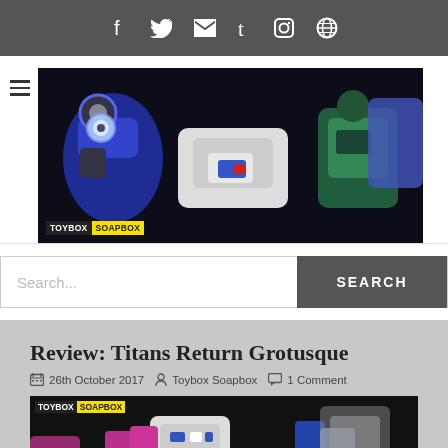Social media navigation bar with icons: Facebook, Twitter, Email, Tumblr, Instagram, Globe
[Figure (photo): Toybox Soapbox website banner showing Transformers robot toys in blue, green, white and black against a dark background, with TOYBOX|SOAPBOX logo at bottom left]
Search...
SEARCH
Review: Titans Return Grotusque
26th October 2017  Toybox Soapbox  1 Comment
[Figure (photo): Toybox Soapbox article image showing Transformers Grotusque toy with pink, white and blue robot figure against black background, with TOYBOX|SOAPBOX logo at top left]